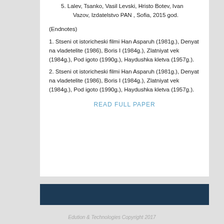5. Lalev, Tsanko, Vasil Levski, Hristo Botev, Ivan Vazov, Izdatelstvo PAN , Sofia, 2015 god.
(Endnotes)
1. Stseni ot istoricheski filmi Han Asparuh (1981g.), Denyat na vladetelite (1986), Boris I (1984g.), Zlatniyat vek (1984g.), Pod igoto (1990g.), Haydushka kletva (1957g.).
2. Stseni ot istoricheski filmi Han Asparuh (1981g.), Denyat na vladetelite (1986), Boris I (1984g.), Zlatniyat vek (1984g.), Pod igoto (1990g.), Haydushka kletva (1957g.).
READ FULL PAPER
Edution & Technologies Copyright 2017